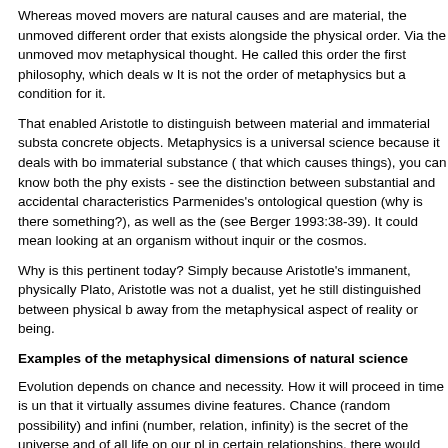Whereas moved movers are natural causes and are material, the unmoved different order that exists alongside the physical order. Via the unmoved mov metaphysical thought. He called this order the first philosophy, which deals w It is not the order of metaphysics but a condition for it.
That enabled Aristotle to distinguish between material and immaterial substa concrete objects. Metaphysics is a universal science because it deals with bo immaterial substance ( that which causes things), you can know both the phy exists - see the distinction between substantial and accidental characteristics Parmenides's ontological question (why is there something?), as well as the (see Berger 1993:38-39). It could mean looking at an organism without inquir or the cosmos.
Why is this pertinent today? Simply because Aristotle's immanent, physically Plato, Aristotle was not a dualist, yet he still distinguished between physical b away from the metaphysical aspect of reality or being.
Examples of the metaphysical dimensions of natural science
Evolution depends on chance and necessity. How it will proceed in time is un that it virtually assumes divine features. Chance (random possibility) and infini (number, relation, infinity) is the secret of the universe and of all life on our pl in certain relationships, there would have been no creation or even life. (Note principle, which maintains that the universe ' awaited', as it were, the advent relies on huge numbers, as well as on the Goldilocks principle of balance: ne
Without fear of contradiction one could aver that nowadays science has supe exists, the nature of reality, ontology, being. Although its answers are based o metaphysics. Examples of metaphysical questions in science include the follo metaphysics of chance; the metaphysics of multiplicity, space and time; the